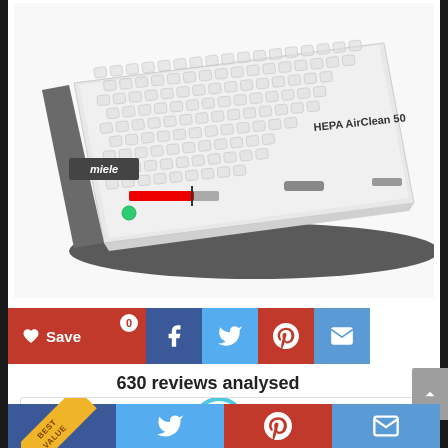[Figure (photo): Miele HEPA AirClean 50 vacuum cleaner filter, white rectangular unit with honeycomb mesh pattern on top, gray base, red indicator bar visible on side, photographed at an angle on white background]
[Figure (infographic): Social sharing buttons row: red Save button with heart icon and 0 count badge, dark blue Facebook button, light blue Twitter button, red Pinterest button, blue Email button]
630 reviews analysed
[Figure (infographic): Best Value card with yellow diagonal ribbon in top-left corner labeled BEST VALUE, and a cyan-bordered circle with number 1 in center]